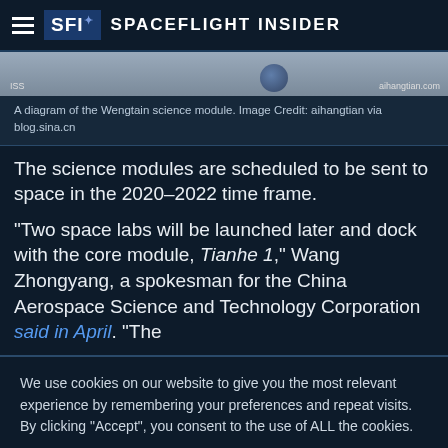Spaceflight Insider
[Figure (photo): Partial view of the Wengtain science module diagram, showing spacecraft imagery with aihangtian.com watermark]
A diagram of the Wengtain science module. Image Credit: aihangtian via blog.sina.cn
The science modules are scheduled to be sent to space in the 2020–2022 time frame.
“Two space labs will be launched later and dock with the core module, Tianhe 1,” Wang Zhongyang, a spokesman for the China Aerospace Science and Technology Corporation said in April. “The
We use cookies on our website to give you the most relevant experience by remembering your preferences and repeat visits. By clicking “Accept”, you consent to the use of ALL the cookies.
Privacy Policy
ACCEPT